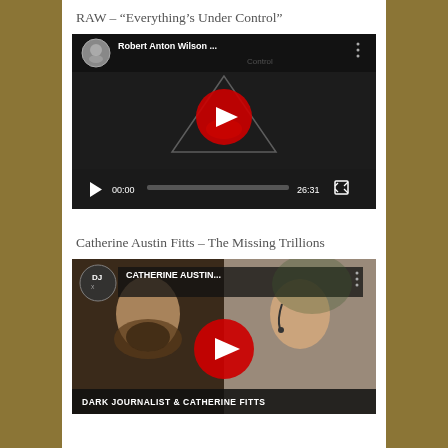RAW – “Everything’s Under Control”
[Figure (screenshot): YouTube video thumbnail for Robert Anton Wilson video titled 'Everything's Under Control', showing a dark image with a triangular illuminati-eye symbol and a red YouTube play button. Video duration shown as 26:31.]
Catherine Austin Fitts – The Missing Trillions
[Figure (screenshot): YouTube video thumbnail showing Catherine Austin Fitts and a bearded man, labeled 'DARK JOURNALIST & CATHERINE FITTS'. Video title shows 'CATHERINE AUSTIN...' with a red YouTube play button overlay.]